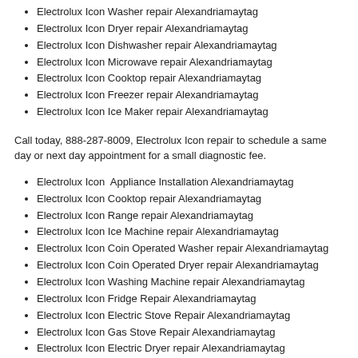Electrolux Icon Washer repair Alexandriamaytag
Electrolux Icon Dryer repair Alexandriamaytag
Electrolux Icon Dishwasher repair Alexandriamaytag
Electrolux Icon Microwave repair Alexandriamaytag
Electrolux Icon Cooktop repair Alexandriamaytag
Electrolux Icon Freezer repair Alexandriamaytag
Electrolux Icon Ice Maker repair Alexandriamaytag
Call today, 888-287-8009, Electrolux Icon repair to schedule a same day or next day appointment for a small diagnostic fee.
Electrolux Icon  Appliance Installation Alexandriamaytag
Electrolux Icon Cooktop repair Alexandriamaytag
Electrolux Icon Range repair Alexandriamaytag
Electrolux Icon Ice Machine repair Alexandriamaytag
Electrolux Icon Coin Operated Washer repair Alexandriamaytag
Electrolux Icon Coin Operated Dryer repair Alexandriamaytag
Electrolux Icon Washing Machine repair Alexandriamaytag
Electrolux Icon Fridge Repair Alexandriamaytag
Electrolux Icon Electric Stove Repair Alexandriamaytag
Electrolux Icon Gas Stove Repair Alexandriamaytag
Electrolux Icon Electric Dryer repair Alexandriamaytag
Electrolux Icon Gas Dryer repair Alexandriamaytag
Electrolux Icon Top Load Washer repair Alexandriamaytag
Electrolux Icon Front Load Washer repair Alexandriamaytag